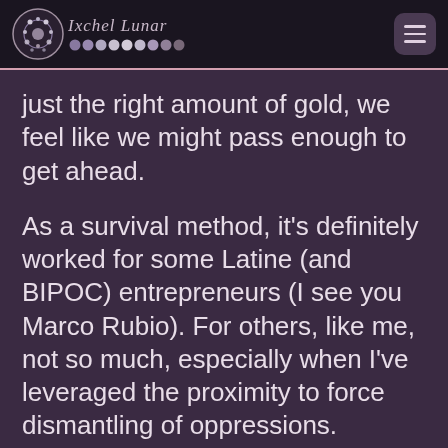Ixchel Lunar
just the right amount of gold, we feel like we might pass enough to get ahead.
As a survival method, it's definitely worked for some Latine (and BIPOC) entrepreneurs (I see you Marco Rubio). For others, like me, not so much, especially when I've leveraged the proximity to force dismantling of oppressions.